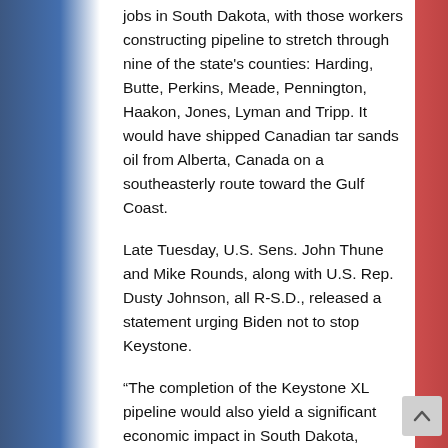jobs in South Dakota, with those workers constructing pipeline to stretch through nine of the state's counties: Harding, Butte, Perkins, Meade, Pennington, Haakon, Jones, Lyman and Tripp. It would have shipped Canadian tar sands oil from Alberta, Canada on a southeasterly route toward the Gulf Coast.
Late Tuesday, U.S. Sens. John Thune and Mike Rounds, along with U.S. Rep. Dusty Johnson, all R-S.D., released a statement urging Biden not to stop Keystone.
“The completion of the Keystone XL pipeline would also yield a significant economic impact in South Dakota, especially through a portion of the $100 million in property taxes the project will generate annually. These revenues will be